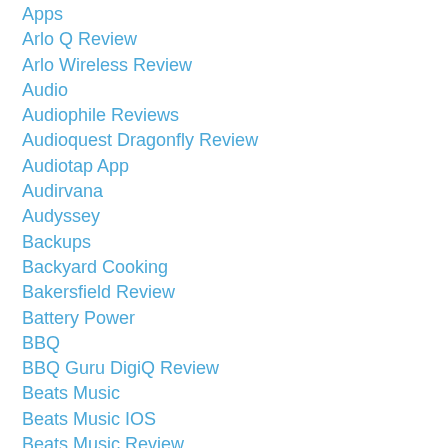Apps
Arlo Q Review
Arlo Wireless Review
Audio
Audiophile Reviews
Audioquest Dragonfly Review
Audiotap App
Audirvana
Audyssey
Backups
Backyard Cooking
Bakersfield Review
Battery Power
BBQ
BBQ Guru DigiQ Review
Beats Music
Beats Music IOS
Beats Music Review
Best Cloud Services
Best IOS Apps 2015
Best IPad Apps (2015)